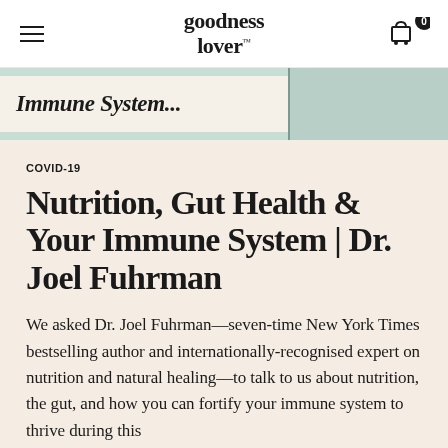goodness lover
[Figure (screenshot): Partial hero banner with light green background and a card showing partial text 'Immune System...' in bold italic serif font on a cream background]
COVID-19
Nutrition, Gut Health & Your Immune System | Dr. Joel Fuhrman
We asked Dr. Joel Fuhrman—seven-time New York Times bestselling author and internationally-recognised expert on nutrition and natural healing—to talk to us about nutrition, the gut, and how you can fortify your immune system to thrive during this